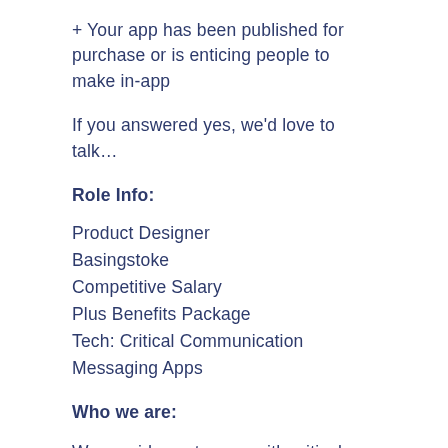+ Your app has been published for purchase or is enticing people to make in-app
If you answered yes, we'd love to talk…
Role Info:
Product Designer
Basingstoke
Competitive Salary
Plus Benefits Package
Tech: Critical Communication Messaging Apps
Who we are:
We provide customers with critical communications technologies. These include secure messaging and personal security solutions that combine professional services